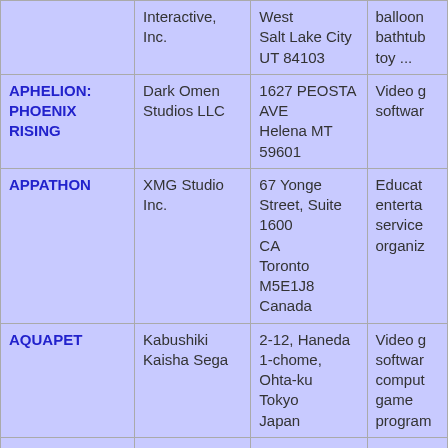| Trademark | Owner | Address | Goods/Services |
| --- | --- | --- | --- |
|  | Interactive, Inc. | West
Salt Lake City
UT 84103 | balloon
bathtub
toy ... |
| APHELION: PHOENIX RISING | Dark Omen Studios LLC | 1627 PEOSTA AVE
Helena MT
59601 | Video g
softwar |
| APPATHON | XMG Studio Inc. | 67 Yonge Street, Suite 1600
CA
Toronto
M5E1J8
Canada | Educat
entertai
service
organiz |
| AQUAPET | Kabushiki Kaisha Sega | 2-12, Haneda 1-chome, Ohta-ku
Tokyo
Japan | Video g
softwar
comput
game
program |
|  |  |  |  |